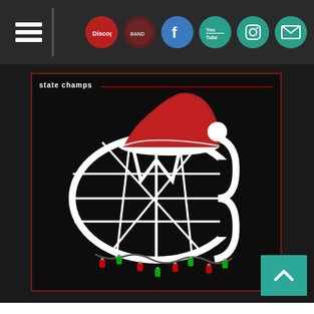Navigation bar with hamburger menu and social icons: Discogs, Bandcamp, Facebook, YouTube, Instagram, Email
[Figure (illustration): Album cover art for 'ordinary christmas' by State Champs. Dark black background with a white globe/letter C logo wearing a red Santa hat and decorated with Christmas lights (red and green bulbs) along the bottom. Text 'state champs' in white at top left with a red horizontal line. Text 'ordinary christmas' in white italic at bottom right.]
state champs
ordinary christmas